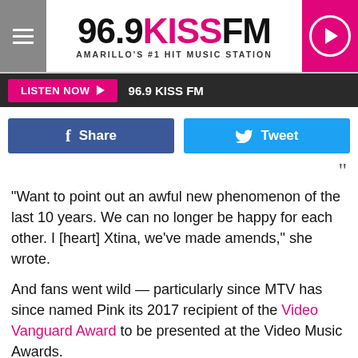96.9 KISS FM — AMARILLO'S #1 HIT MUSIC STATION
LISTEN NOW ▶  96.9 KISS FM
Share  Tweet
"Want to point out an awful new phenomenon of the last 10 years. We can no longer be happy for each other. I [heart] Xtina, we've made amends," she wrote.
And fans went wild — particularly since MTV has since named Pink its 2017 recipient of the Video Vanguard Award to be presented at the Video Music Awards.
"@Pink truly deserves this award, the amount she's done is incredible. One of the best entertainers I've seen! Christina